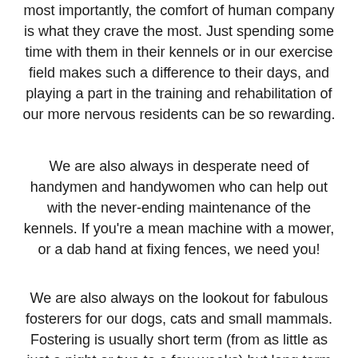most importantly, the comfort of human company is what they crave the most. Just spending some time with them in their kennels or in our exercise field makes such a difference to their days, and playing a part in the training and rehabilitation of our more nervous residents can be so rewarding.
We are also always in desperate need of handymen and handywomen who can help out with the never-ending maintenance of the kennels. If you're a mean machine with a mower, or a dab hand at fixing fences, we need you!
We are also always on the lookout for fabulous fosterers for our dogs, cats and small mammals. Fostering is usually short term (from as little as just a night or two to a few weeks) but long term care (for several months) with specialist fosterers is sometimes also required. We never know who will be arriving on our doorstep from one day to the next, so our foster team needs to be ready and waiting for our new arrivals, and whatever emotional